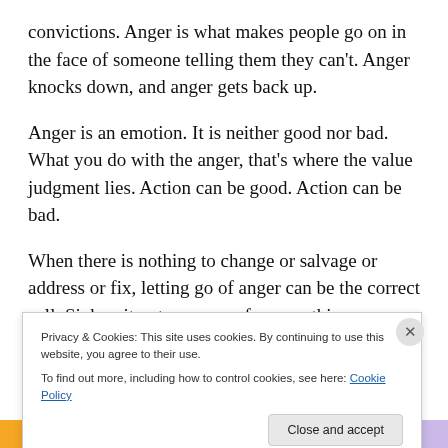convictions. Anger is what makes people go on in the face of someone telling them they can't. Anger knocks down, and anger gets back up.
Anger is an emotion. It is neither good nor bad. What you do with the anger, that's where the value judgment lies. Action can be good. Action can be bad.
When there is nothing to change or salvage or address or fix, letting go of anger can be the correct call. Siphon it out as energy for something productive. Breathe and let it fade. But don't just dump it into a rubbish bin and pretend
Privacy & Cookies: This site uses cookies. By continuing to use this website, you agree to their use.
To find out more, including how to control cookies, see here: Cookie Policy
Close and accept